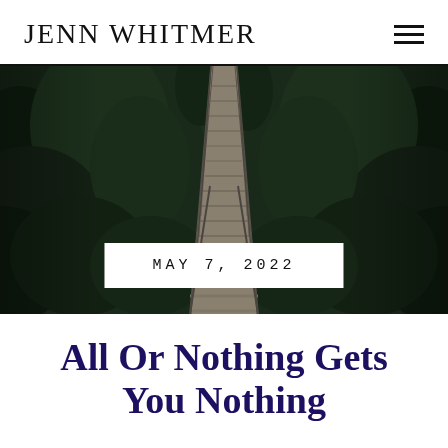JENN WHITMER
[Figure (photo): Aerial view of a wooden suspension bridge extending into a dark green forest, surrounded by dense fir trees, moody and dark tones]
MAY 7, 2022
All Or Nothing Gets You Nothing